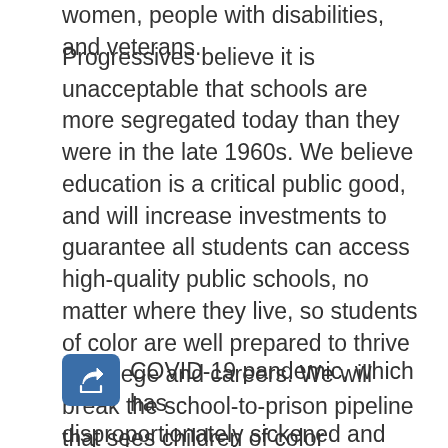women, people with disabilities, and veterans.
Progressives believe it is unacceptable that schools are more segregated today than they were in the late 1960s. We believe education is a critical public good, and will increase investments to guarantee all students can access high-quality public schools, no matter where they live, so students of color are well prepared to thrive in college and careers. We will break the school-to-prison pipeline that sees children of color disproportionately punished by the criminal justice system for disciplinary issues that should be handled by school administrators or counselors.
COVID-19 pandemic, which has disproportionately sickened and killed Black